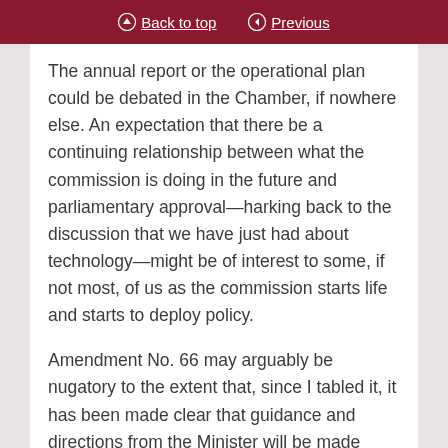Back to top   Previous
The annual report or the operational plan could be debated in the Chamber, if nowhere else. An expectation that there be a continuing relationship between what the commission is doing in the future and parliamentary approval—harking back to the discussion that we have just had about technology—might be of interest to some, if not most, of us as the commission starts life and starts to deploy policy.
Amendment No. 66 may arguably be nugatory to the extent that, since I tabled it, it has been made clear that guidance and directions from the Minister will be made public, although I am getting quite negative signals from the Minister at the moment. The power that Clause 10 gives to the department—